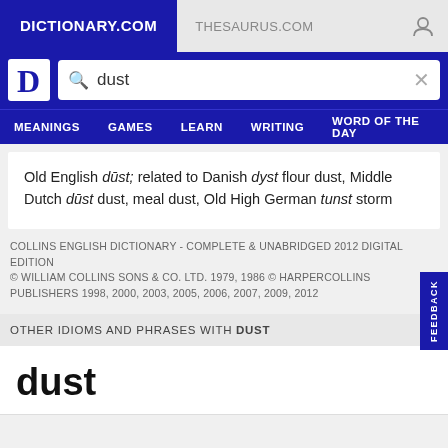DICTIONARY.COM | THESAURUS.COM
dust (search query)
MEANINGS GAMES LEARN WRITING WORD OF THE DAY
Old English dūst; related to Danish dyst flour dust, Middle Dutch dūst dust, meal dust, Old High German tunst storm
COLLINS ENGLISH DICTIONARY - COMPLETE & UNABRIDGED 2012 DIGITAL EDITION
© WILLIAM COLLINS SONS & CO. LTD. 1979, 1986 © HARPERCOLLINS PUBLISHERS 1998, 2000, 2003, 2005, 2006, 2007, 2009, 2012
OTHER IDIOMS AND PHRASES WITH DUST
dust